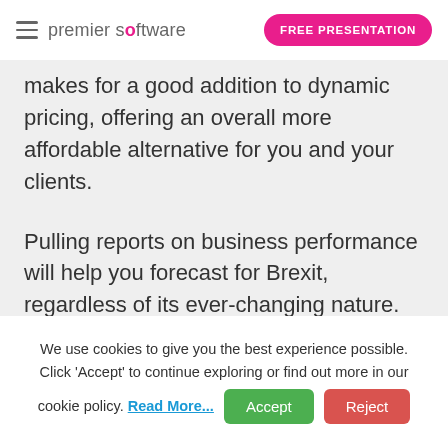premier software | FREE PRESENTATION
makes for a good addition to dynamic pricing, offering an overall more affordable alternative for you and your clients.
Pulling reports on business performance will help you forecast for Brexit, regardless of its ever-changing nature. Core by Premier Software can help do this, keeping an eye on trends within your business. For more information or to book
We use cookies to give you the best experience possible. Click 'Accept' to continue exploring or find out more in our cookie policy. Read More...